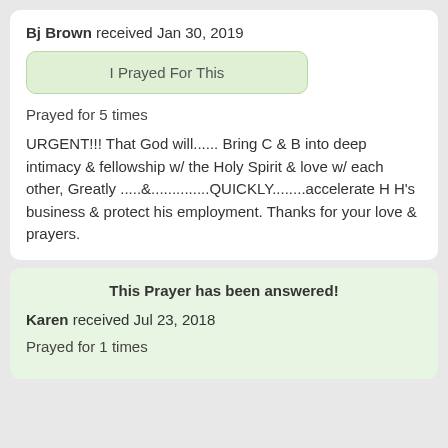Bj Brown received Jan 30, 2019
I Prayed For This
Prayed for 5 times
URGENT!!! That God will...... Bring C & B into deep intimacy & fellowship w/ the Holy Spirit & love w/ each other, Greatly .....&..............QUICKLY........accelerate H H's business & protect his employment. Thanks for your love & prayers.
This Prayer has been answered!
Karen received Jul 23, 2018
Prayed for 1 times